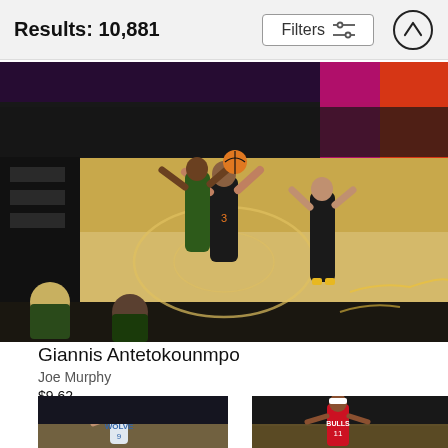Results: 10,881  Filters
[Figure (photo): NBA basketball action photo showing Giannis Antetokounmpo going up for a shot or dunk with Phoenix Suns defenders in dark uniforms on a basketball court with black floor and yellow markings]
Giannis Antetokounmpo
Joe Murphy
$9.62
[Figure (photo): NBA player in Timberwolves white uniform with number 9, likely Ricky Rubio]
[Figure (photo): NBA player in Chicago Bulls red uniform with number 11]